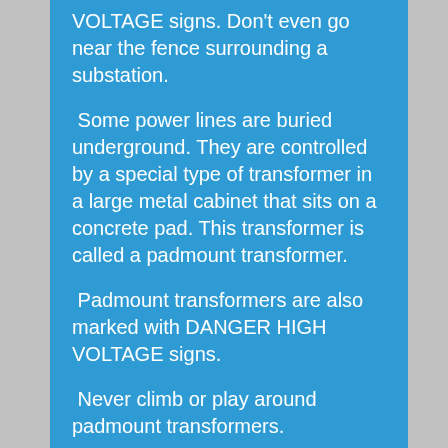VOLTAGE signs. Don't even go near the fence surrounding a substation.
Some power lines are buried underground. They are controlled by a special type of transformer in a large metal cabinet that sits on a concrete pad. This transformer is called a padmount transformer.
Padmount transformers are also marked with DANGER HIGH VOLTAGE signs.
Never climb or play around padmount transformers.
Report any broken locks on transformer cabinet doors to your police and your power company. NEVER open a transformer door.